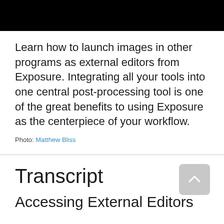[Figure (photo): Black banner/header image at the top of the page]
Learn how to launch images in other programs as external editors from Exposure. Integrating all your tools into one central post-processing tool is one of the great benefits to using Exposure as the centerpiece of your workflow.
Photo: Matthew Bliss
Transcript
Accessing External Editors